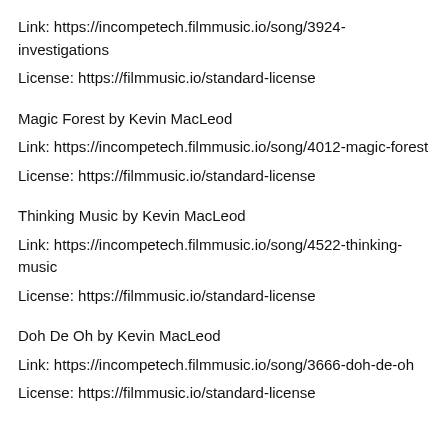Link: https://incompetech.filmmusic.io/song/3924-investigations
License: https://filmmusic.io/standard-license
Magic Forest by Kevin MacLeod
Link: https://incompetech.filmmusic.io/song/4012-magic-forest
License: https://filmmusic.io/standard-license
Thinking Music by Kevin MacLeod
Link: https://incompetech.filmmusic.io/song/4522-thinking-music
License: https://filmmusic.io/standard-license
Doh De Oh by Kevin MacLeod
Link: https://incompetech.filmmusic.io/song/3666-doh-de-oh
License: https://filmmusic.io/standard-license